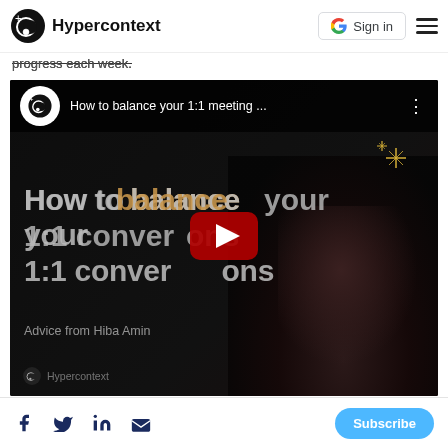Hypercontext
progress each week.
[Figure (screenshot): YouTube video embed with title 'How to balance your 1:1 meeting ...' showing text overlay 'How to balance your 1:1 conversations' with YouTube play button, advice from Hiba Amin, Hypercontext branding, and sparkle decorations.]
Subscribe (social share icons: Facebook, Twitter, LinkedIn, Email)